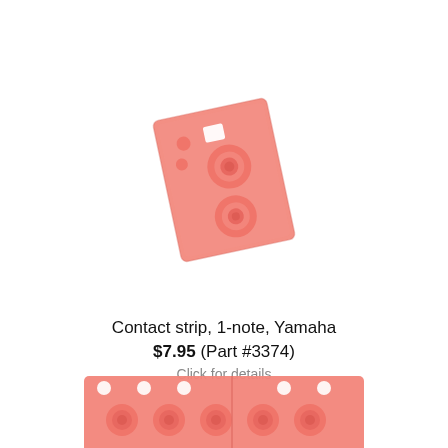[Figure (photo): A pink/salmon-colored rubber contact strip for a single note, Yamaha keyboard. The part is roughly square/rectangular, slightly tilted, with two circular ring protrusions and a small rectangular hole near the top, and two smaller dot bumps on the upper left.]
Contact strip, 1-note, Yamaha
$7.95 (Part #3374)
Click for details
[Figure (photo): Bottom portion of a longer pink/salmon rubber contact strip with multiple note contacts and circular ring protrusions visible at the bottom edge of the page.]